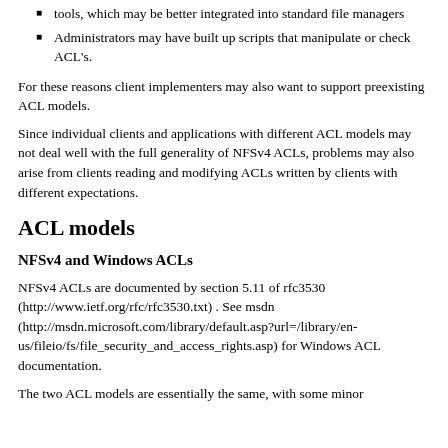tools, which may be better integrated into standard file managers
Administrators may have built up scripts that manipulate or check ACL's.
For these reasons client implementers may also want to support preexisting ACL models.
Since individual clients and applications with different ACL models may not deal well with the full generality of NFSv4 ACLs, problems may also arise from clients reading and modifying ACLs written by clients with different expectations.
ACL models
NFSv4 and Windows ACLs
NFSv4 ACLs are documented by section 5.11 of rfc3530 (http://www.ietf.org/rfc/rfc3530.txt) . See msdn (http://msdn.microsoft.com/library/default.asp?url=/library/en-us/fileio/fs/file_security_and_access_rights.asp) for Windows ACL documentation.
The two ACL models are essentially the same, with some minor